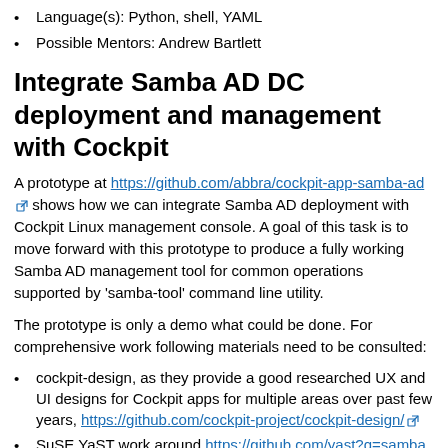Language(s): Python, shell, YAML
Possible Mentors: Andrew Bartlett
Integrate Samba AD DC deployment and management with Cockpit
A prototype at https://github.com/abbra/cockpit-app-samba-ad shows how we can integrate Samba AD deployment with Cockpit Linux management console. A goal of this task is to move forward with this prototype to produce a fully working Samba AD management tool for common operations supported by 'samba-tool' command line utility.
The prototype is only a demo what could be done. For comprehensive work following materials need to be consulted:
cockpit-design, as they provide a good researched UX and UI designs for Cockpit apps for multiple areas over past few years, https://github.com/cockpit-project/cockpit-design/
SuSE YaST work around https://github.com/yast?q=samba